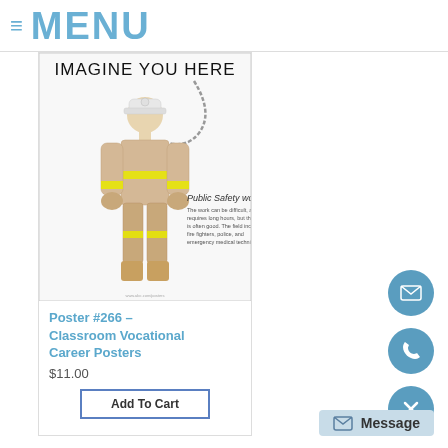≡ MENU
[Figure (photo): Poster showing a child dressed as a firefighter in tan gear with yellow reflective stripes, text reading IMAGINE YOU HERE and Public Safety Workers description below]
Poster #266 – Classroom Vocational Career Posters
$11.00
Add To Cart